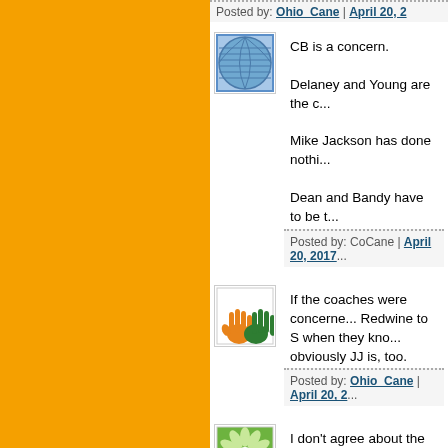Posted by: Ohio_Cane | April 20, 2...
[Figure (photo): Avatar with blue globe/wave pattern on white background]
CB is a concern.

Delaney and Young are the c...

Mike Jackson has done nothi...

Dean and Bandy have to be t...
Posted by: CoCane | April 20, 2017...
[Figure (logo): Miami Hurricanes logo with orange and green hands forming U shape]
If the coaches were concerne... Redwine to S when they kno... obviously JJ is, too.
Posted by: Ohio_Cane | April 20, 2...
[Figure (photo): Green and white starburst/flower pattern avatar]
I don't agree about the Redw... safeties being great tacklers ... the safeties will be the last gu... bet on Amari Carter (who I th... game action.